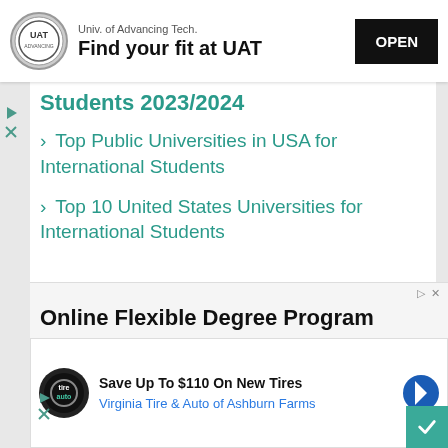[Figure (infographic): UAT university ad banner with logo, tagline 'Find your fit at UAT', and OPEN button]
Students 2023/2024
> Top Public Universities in USA for International Students
> Top 10 United States Universities for International Students
[Figure (infographic): Online Flexible Degree Program ad - Associate's in Technology, Accredited and accelerated Associate's]
[Figure (infographic): Virginia Tire & Auto ad - Save Up To $110 On New Tires, Virginia Tire & Auto of Ashburn Farms]